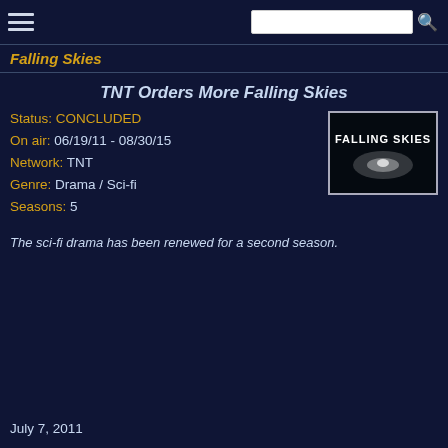Falling Skies
TNT Orders More Falling Skies
Status: CONCLUDED
On air: 06/19/11 - 08/30/15
Network: TNT
Genre: Drama / Sci-fi
Seasons: 5
[Figure (photo): Falling Skies TV show logo/title card on dark background]
The sci-fi drama has been renewed for a second season.
July 7, 2011